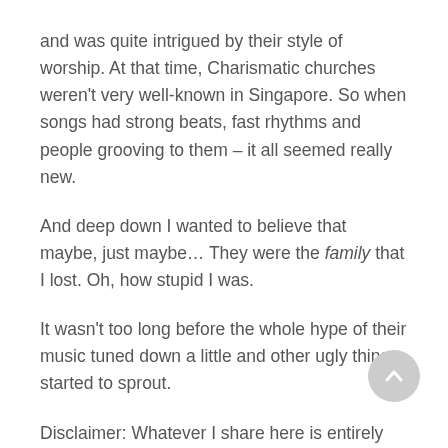and was quite intrigued by their style of worship. At that time, Charismatic churches weren't very well-known in Singapore. So when songs had strong beats, fast rhythms and people grooving to them – it all seemed really new.
And deep down I wanted to believe that maybe, just maybe... They were the family that I lost. Oh, how stupid I was.
It wasn't too long before the whole hype of their music tuned down a little and other ugly things started to sprout.
Disclaimer: Whatever I share here is entirely my own experiences and from my perspective, which can be limited. So if you experienced anything otherwise or feel that I'm spouting nonsense –